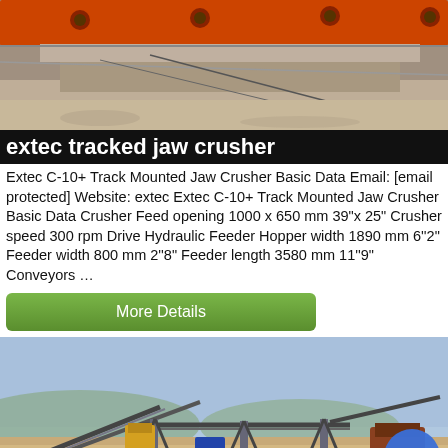[Figure (photo): Close-up photo of an orange/red jaw crusher machine plate with bolts on a sandy/rocky surface]
extec tracked jaw crusher
Extec C-10+ Track Mounted Jaw Crusher Basic Data Email: [email protected] Website: extec Extec C-10+ Track Mounted Jaw Crusher Basic Data Crusher Feed opening 1000 x 650 mm 39"x 25" Crusher speed 300 rpm Drive Hydraulic Feeder Hopper width 1890 mm 6''2" Feeder width 800 mm 2''8" Feeder length 3580 mm 11''9" Conveyors …
[Figure (other): More Details button — green rounded rectangle]
[Figure (photo): Wide-angle photo of a large crushing and conveyor plant on open flat ground under a blue sky, with a vehicle parked nearby and a chat bubble icon in the bottom right corner]